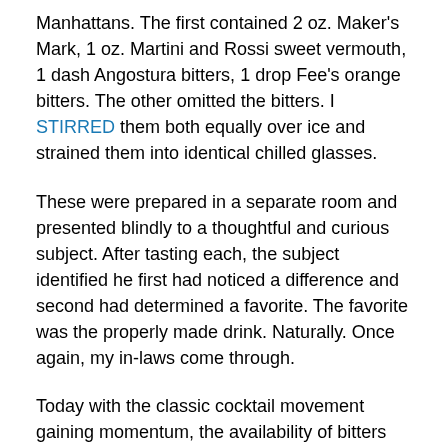Manhattans.  The first contained 2 oz. Maker's Mark, 1 oz. Martini and Rossi sweet vermouth, 1 dash Angostura bitters, 1 drop Fee's orange bitters.  The other omitted the bitters.  I STIRRED them both equally over ice and strained them into identical chilled glasses.
These were prepared in a separate room and presented blindly to a thoughtful and curious subject.  After tasting each, the subject identified he first had noticed a difference and second had determined a favorite.  The favorite was the properly made drink.  Naturally.  Once again, my in-laws come through.
Today with the classic cocktail movement gaining momentum, the availability of bitters has reached an unprecedented level.  Yet I still have difficulty finding them here in Albany.